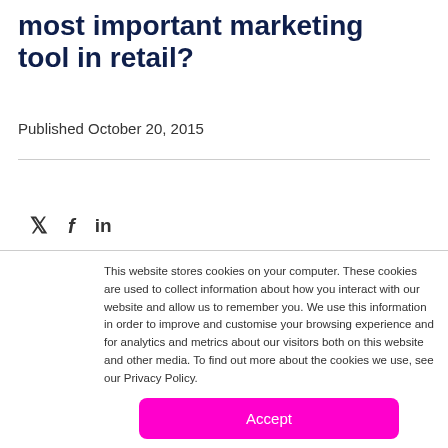most important marketing tool in retail?
Published October 20, 2015
This website stores cookies on your computer. These cookies are used to collect information about how you interact with our website and allow us to remember you. We use this information in order to improve and customise your browsing experience and for analytics and metrics about our visitors both on this website and other media. To find out more about the cookies we use, see our Privacy Policy.